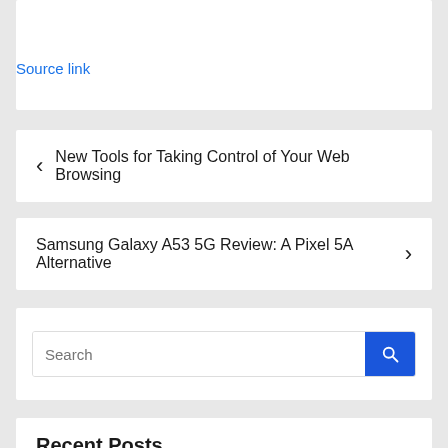Source link
< New Tools for Taking Control of Your Web Browsing
Samsung Galaxy A53 5G Review: A Pixel 5A Alternative >
[Figure (screenshot): Search input box with blue search button on the right]
Recent Posts